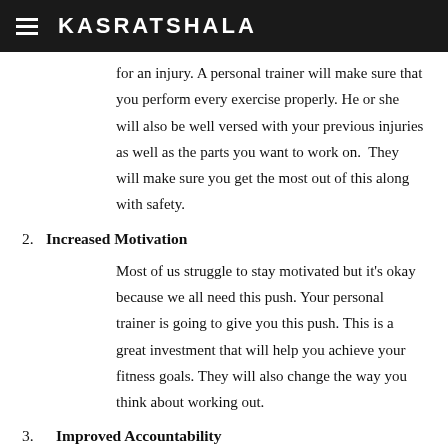KASRATSHALA
for an injury. A personal trainer will make sure that you perform every exercise properly. He or she will also be well versed with your previous injuries as well as the parts you want to work on.  They will make sure you get the most out of this along with safety.
2. Increased Motivation
Most of us struggle to stay motivated but it's okay because we all need this push. Your personal trainer is going to give you this push. This is a great investment that will help you achieve your fitness goals. They will also change the way you think about working out.
3. Improved Accountability
When you have a personal trainer, you are bound to attend sessions. It's difficult to cancel these sessions